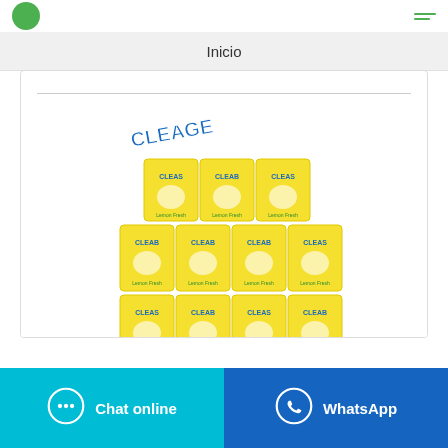Inicio
[Figure (photo): Multiple yellow bags of Cleage brand powdered detergent arranged in rows, with the Cleage logo visible on each bag. The bags are yellow with blue branding text.]
Detergente En Polvo